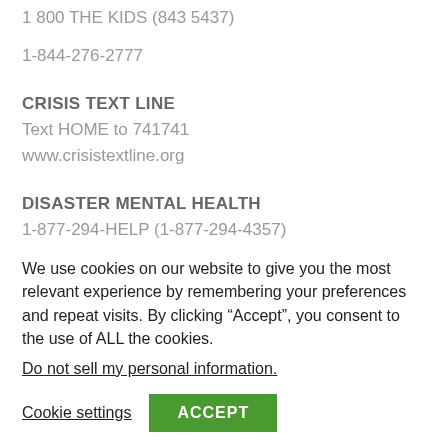1 800 THE KIDS (843 5437)
1-844-276-2777
CRISIS TEXT LINE
Text HOME to 741741
www.crisistextline.org
DISASTER MENTAL HEALTH
1-877-294-HELP (1-877-294-4357)
We use cookies on our website to give you the most relevant experience by remembering your preferences and repeat visits. By clicking “Accept”, you consent to the use of ALL the cookies.
Do not sell my personal information.
Cookie settings
ACCEPT